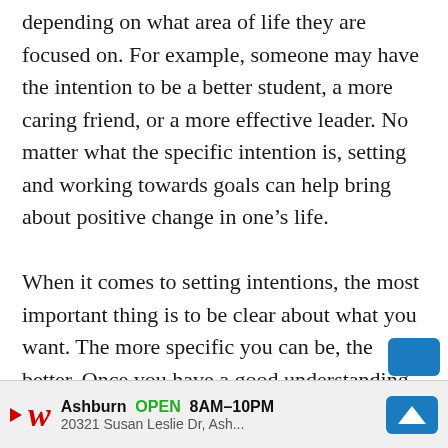depending on what area of life they are focused on. For example, someone may have the intention to be a better student, a more caring friend, or a more effective leader. No matter what the specific intention is, setting and working towards goals can help bring about positive change in one’s life.

When it comes to setting intentions, the most important thing is to be clear about what you want. The more specific you can be, the better. Once you have a good understanding of your intention, the next step is to start taking acti...
[Figure (infographic): Advertisement banner for Walgreens showing logo, store hours (OPEN 8AM-10PM), address (20321 Susan Leslie Dr, Ash...), and a blue navigation icon.]